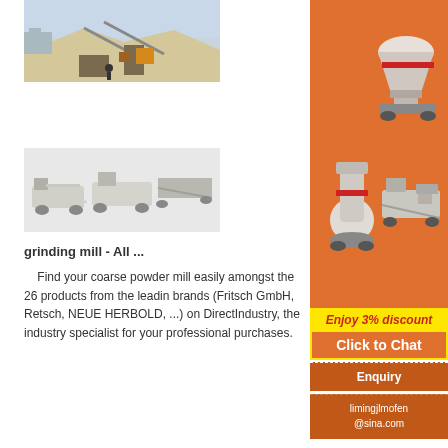[Figure (photo): Industrial quarry/mining site with conveyors, crushers, and stockpiles of aggregate material]
mill,

Coarse

powder
[Figure (photo): Mobile crushing/grinding mill machines on a white background with LIMING watermark]
[Figure (photo): Sidebar advertisement showing two industrial machines (cone crusher and mobile plant) on orange background]
Enjoy 3% discount
Click to Chat
Enquiry
limingjlmofen
@sina.com
grinding mill - All ...
Find your coarse powder mill easily amongst the 26 products from the leading brands (Fritsch GmbH, Retsch, NEUE HERBOLD, ...) on DirectIndustry, the industry specialist for your professional purchases.